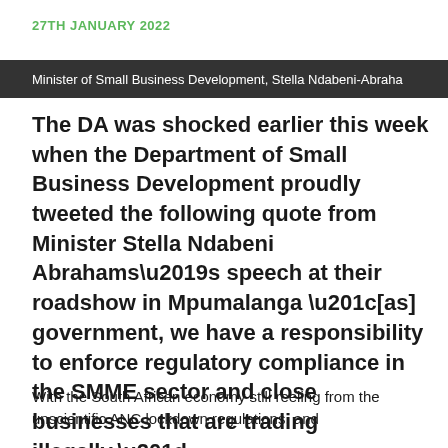27TH JANUARY 2022
Minister of Small Business Development, Stella Ndabeni-Abraha
The DA was shocked earlier this week when the Department of Small Business Development proudly tweeted the following quote from Minister Stella Ndabeni Abrahams’s speech at their roadshow in Mpumalanga “[as] government, we have a responsibility to enforce regulatory compliance in the SMME sector and close businesses that are trading illegally.”
With the South African economy still reeling from the unscientific ANC lockdown regulations, and